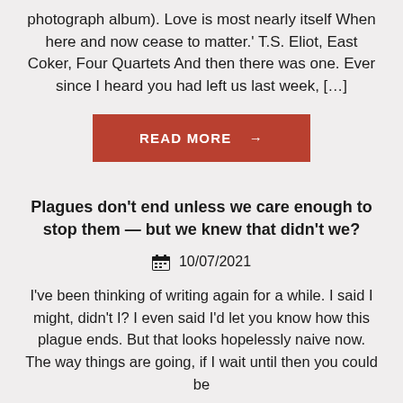photograph album). Love is most nearly itself When here and now cease to matter.' T.S. Eliot, East Coker, Four Quartets And then there was one. Ever since I heard you had left us last week, […]
READ MORE →
Plagues don't end unless we care enough to stop them — but we knew that didn't we?
10/07/2021
I've been thinking of writing again for a while. I said I might, didn't I? I even said I'd let you know how this plague ends. But that looks hopelessly naive now. The way things are going, if I wait until then you could be